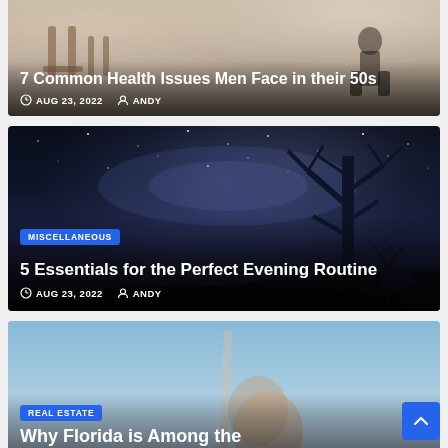[Figure (photo): Article card (partially cropped at top) showing two people sitting in wooden chairs. Title: '7 Common Health Issues Men Face in their 50s'. Date: AUG 23, 2022. Author: ANDY.]
7 Common Health Issues Men Face in their 50s
AUG 23, 2022  ANDY
[Figure (photo): Article card with night sky / Milky Way background and silhouette of a bare tree and deer. Category badge: MISCELLANEOUS. Title: '5 Essentials for the Perfect Evening Routine'. Date: AUG 23, 2022. Author: ANDY.]
MISCELLANEOUS
5 Essentials for the Perfect Evening Routine
AUG 23, 2022  ANDY
[Figure (photo): Article card (partially cropped at bottom) showing a blue sky background with a person holding something. Category badge: REAL ESTATE. Title (cropped): 'Why Florida is Among the'.]
REAL ESTATE
Why Florida is Among the